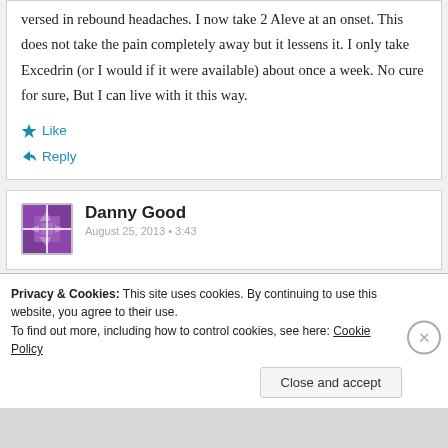versed in rebound headaches. I now take 2 Aleve at an onset. This does not take the pain completely away but it lessens it. I only take Excedrin (or I would if it were available) about once a week. No cure for sure, But I can live with it this way.
Like
Reply
Danny Good
Privacy & Cookies: This site uses cookies. By continuing to use this website, you agree to their use. To find out more, including how to control cookies, see here: Cookie Policy
Close and accept